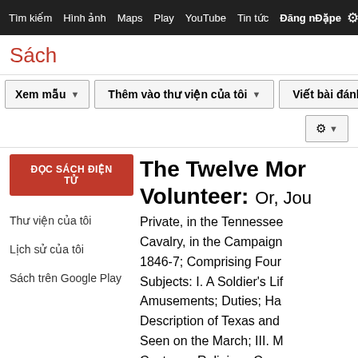Tìm kiếm  Hình ảnh  Maps  Play  YouTube  Tin tức  Đăng nhập  Đặpe  ⚙
Sách
Xem mẫu  ▼  Thêm vào thư viện của tôi  ▼  Viết bài đánh giá  ⚙ ▼
ĐỌC SÁCH ĐIỆN TỬ
Thư viện của tôi
Lịch sử của tôi
Sách trên Google Play
The Twelve Months Volunteer: Or, Journal of a Private, in the Tennessee Regiment of Cavalry, in the Campaign in Mexico, 1846-7; Comprising Four Interesting Subjects: I. A Soldier's Life in Camp, its Amusements; Duties; Hardships, etc. II. A Description of Texas and Mexico, as Seen on the March; III. Manners, Customs; Religious Ceremonies, of the Mexicans; IV. The Operations of the Twelve Months Volunteers, Including a Complete History of the War...